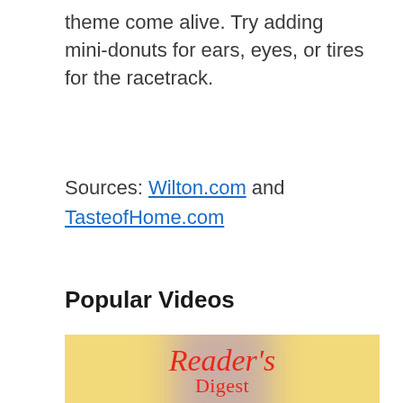theme come alive. Try adding mini-donuts for ears, eyes, or tires for the racetrack.
Sources: Wilton.com and TasteofHome.com
Popular Videos
[Figure (other): Reader's Digest video thumbnail with yellow background and blurred purple/lavender bottle overlay, showing Reader's Digest logo in red italic serif font]